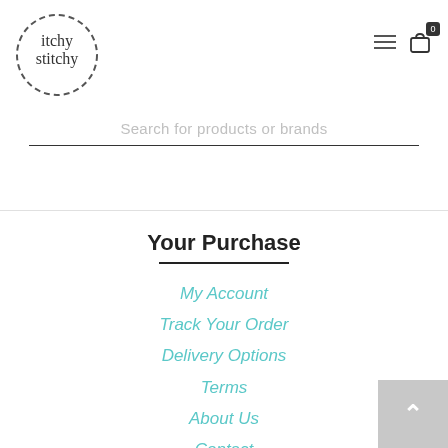[Figure (logo): Itchy Stitchy logo — handwritten text inside a dashed circle]
[Figure (infographic): Hamburger menu icon (three horizontal lines) and shopping cart icon with badge showing 0]
Search for products or brands
Your Purchase
My Account
Track Your Order
Delivery Options
Terms
About Us
Contact